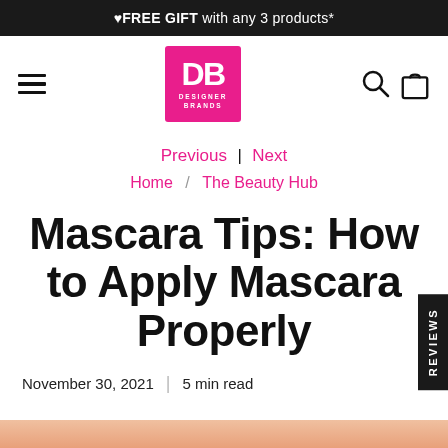♥FREE GIFT with any 3 products*
[Figure (logo): Designer Brands (DB) logo — white DB letters on hot pink square background with DESIGNER BRANDS text below]
Previous | Next
Home / The Beauty Hub
Mascara Tips: How to Apply Mascara Properly
November 30, 2021  |  5 min read